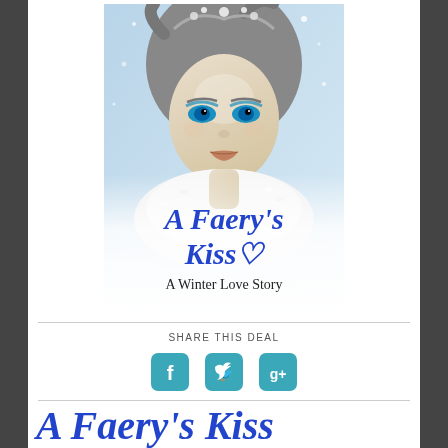[Figure (illustration): Book cover for 'A Faery's Kiss: A Winter Love Story' showing a woman with dramatic winter fairy makeup, silver hair decorated with snowflakes and crystals, blue eye makeup, white fur collar, with the title in blue script and subtitle in black serif font.]
SHARE THIS DEAL
[Figure (infographic): Three social media sharing icons: Facebook (f), Twitter (bird), and Google+ (g+), each in a teal/cyan rounded square.]
A Faery's Kiss